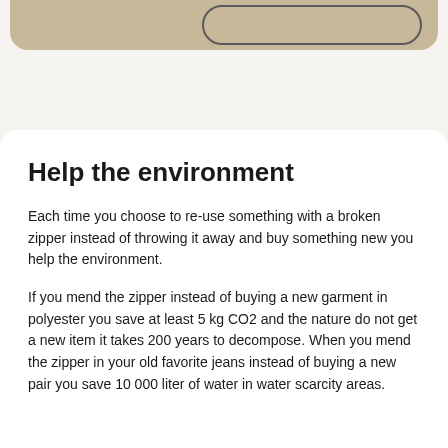[Figure (other): Partial view of a tan/beige rounded card with a button outline on the right side, cropped at the top of the page]
Help the environment
Each time you choose to re-use something with a broken zipper instead of throwing it away and buy something new you help the environment.
If you mend the zipper instead of buying a new garment in polyester you save at least 5 kg CO2 and the nature do not get a new item it takes 200 years to decompose. When you mend the zipper in your old favorite jeans instead of buying a new pair you save 10 000 liter of water in water scarcity areas.